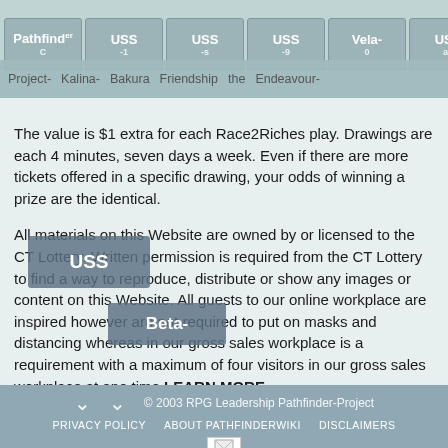Pathfinder-C | USS-1 | USS-s | USS-9 | Vela-0 | USS-as | [smiley icon] | Project- Kalina- Bakura Friendship the Endeavour-
The value is $1 extra for each Race2Riches play. Drawings are each 4 minutes, seven days a week. Even if there are more tickets offered in a specific drawing, your odds of winning a prize are the identical.

All materials on this Website are owned by or licensed to the CT Lottery. Written permission is required from the CT Lottery to find a way to reproduce, distribute or show any images or content on this Website. All guests to our online workplace are inspired however are not required to put on masks and distancing whereas in our gross sales workplace is a requirement with a maximum of four visitors in our gross sales workplace at one time.LEARN MORE.
© 2003 RPG Leadership Pathfinder-Project
PRIVACY POLICY  ABOUT PATHFINDERWIKI  DISCLAIMERS
[image placeholder]
[Powered by MediaWiki badge]